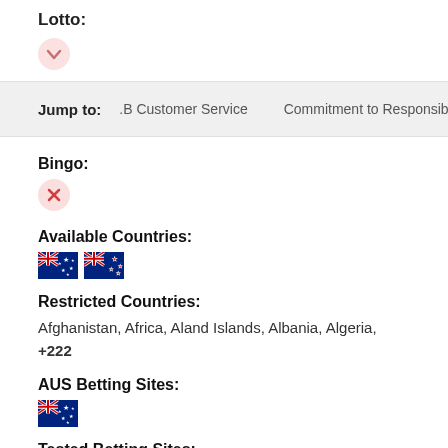Lotto:
[Figure (other): Downward chevron icon in a light pink/peach circle, indicating a collapsible section indicator]
Jump to:   .B Customer Service   Commitment to Responsible Gamb
Bingo:
[Figure (other): X (close/no) icon in a light pink/red circle]
Available Countries:
[Figure (other): Australian flag emoji and New Zealand flag emoji side by side]
Restricted Countries:
Afghanistan, Africa, Aland Islands, Albania, Algeria, +222
AUS Betting Sites:
[Figure (other): Australian flag emoji]
Tested Betting Sites:
[Figure (other): Green shield with white checkmark icon]